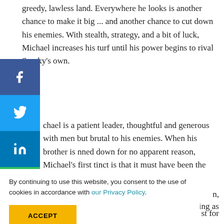greedy, lawless land. Everywhere he looks is another chance to make it big ... and another chance to cut down his enemies. With stealth, strategy, and a bit of luck, Michael increases his turf until his power begins to rival Sparky’s own.
chael is a patient leader, thoughtful and generous with men but brutal to his enemies. When his brother is nned down for no apparent reason, Michael’s first tinct is that it must have been the wrong hit. But as he
n,
st for
gripping as
By continuing to use this website, you consent to the use of cookies in accordance with our Privacy Policy.
ACCEPT